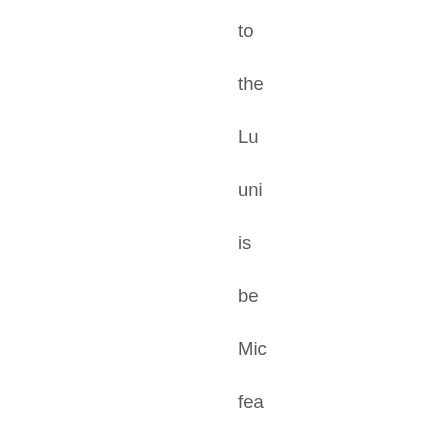to

the

Lu

uni

is

be

Mic

fea

sal

co

wh

a

lou

Lu

de

is

ne: